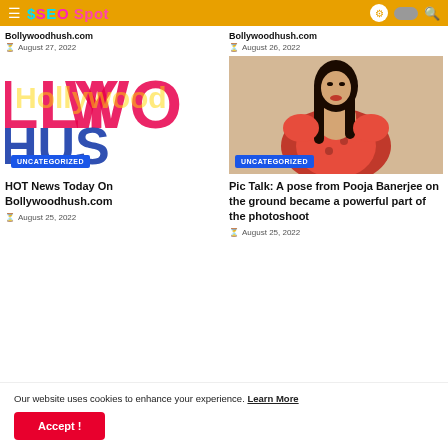SEO Spot
Bollywoodhush.com
August 27, 2022
Bollywoodhush.com
August 26, 2022
[Figure (photo): Bollywoodhush logo with pink and blue letters LLYWOODHUSH on white background]
[Figure (photo): Woman in red floral dress with long dark hair posing for photoshoot]
HOT News Today On Bollywoodhush.com
August 25, 2022
Pic Talk: A pose from Pooja Banerjee on the ground became a powerful part of the photoshoot
August 25, 2022
Our website uses cookies to enhance your experience. Learn More
Accept !